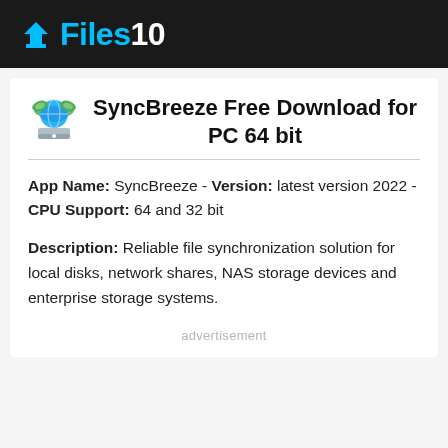Files10
SyncBreeze Free Download for PC 64 bit
App Name: SyncBreeze - Version: latest version 2022 - CPU Support: 64 and 32 bit
Description: Reliable file synchronization solution for local disks, network shares, NAS storage devices and enterprise storage systems.
advertisement